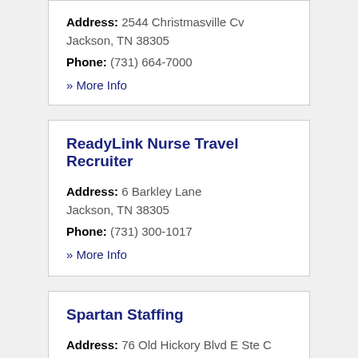Address: 2544 Christmasville Cv Jackson, TN 38305
Phone: (731) 664-7000
» More Info
ReadyLink Nurse Travel Recruiter
Address: 6 Barkley Lane Jackson, TN 38305
Phone: (731) 300-1017
» More Info
Spartan Staffing
Address: 76 Old Hickory Blvd E Ste C Jackson, TN 38305